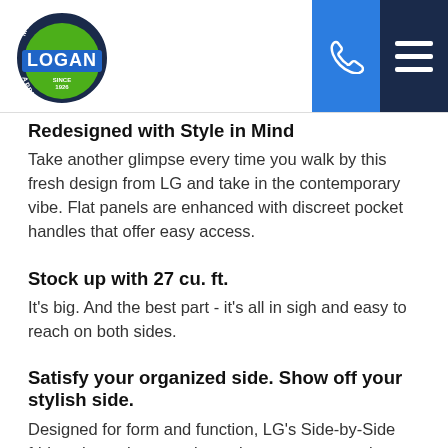[Figure (logo): Logan Master Appliance circular logo with green and blue colors, 'LOGAN' text in blue rectangle]
[Figure (infographic): Blue phone icon button in header]
[Figure (infographic): Dark navy hamburger menu icon button in header]
Redesigned with Style in Mind
Take another glimpse every time you walk by this fresh design from LG and take in the contemporary vibe. Flat panels are enhanced with discreet pocket handles that offer easy access.
Stock up with 27 cu. ft.
It's big. And the best part - it's all in sigh and easy to reach on both sides.
Satisfy your organized side. Show off your stylish side.
Designed for form and function, LG's Side-by-Side fridges have the capacity and easy access you've been looking for with looks